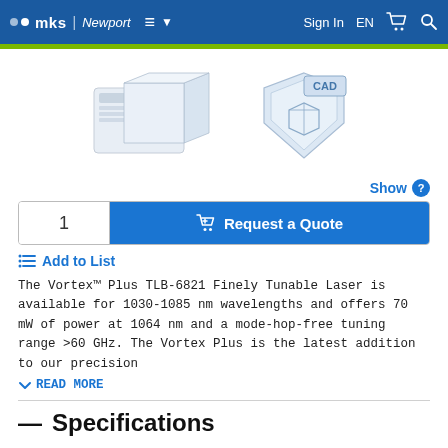mks | Newport  Sign In EN
[Figure (illustration): Product icons: a laser device thumbnail and a CAD model icon with a blue shield]
Show
1   Request a Quote
Add to List
The Vortex™ Plus TLB-6821 Finely Tunable Laser is available for 1030-1085 nm wavelengths and offers 70 mW of power at 1064 nm and a mode-hop-free tuning range >60 GHz. The Vortex Plus is the latest addition to our precision
READ MORE
Specifications